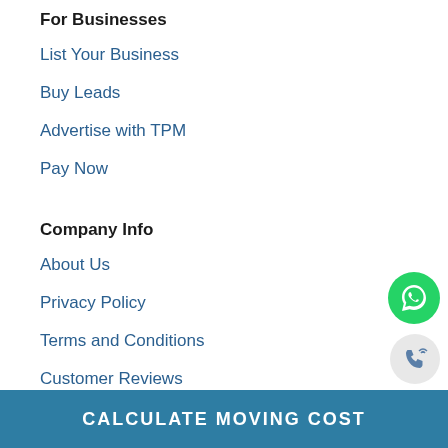For Businesses
List Your Business
Buy Leads
Advertise with TPM
Pay Now
Company Info
About Us
Privacy Policy
Terms and Conditions
Customer Reviews
FAQ
CALCULATE MOVING COST